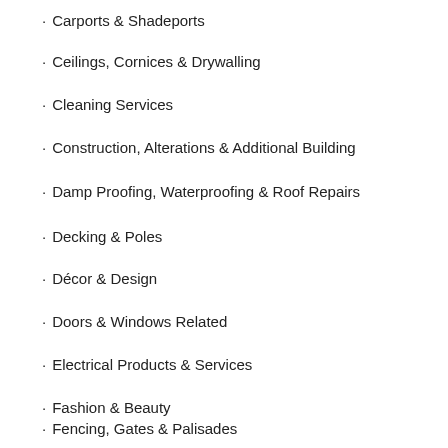Carports & Shadeports
Ceilings, Cornices & Drywalling
Cleaning Services
Construction, Alterations & Additional Building
Damp Proofing, Waterproofing & Roof Repairs
Decking & Poles
Décor & Design
Doors & Windows Related
Electrical Products & Services
Fashion & Beauty
Fencing, Gates & Palisades